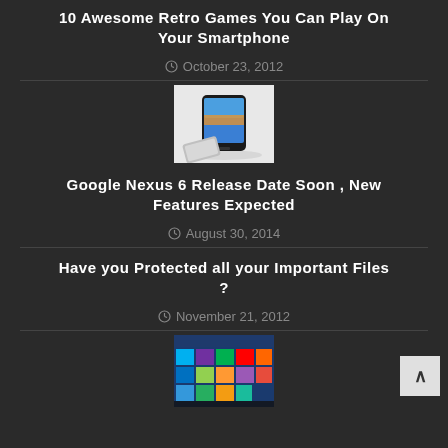10 Awesome Retro Games You Can Play On Your Smartphone
October 23, 2012
[Figure (photo): Google Nexus 6 smartphone product photo on white background]
Google Nexus 6 Release Date Soon , New Features Expected
August 30, 2014
Have you Protected all your Important Files ?
November 21, 2012
[Figure (screenshot): Windows 8 Start screen screenshot with colorful tiles]